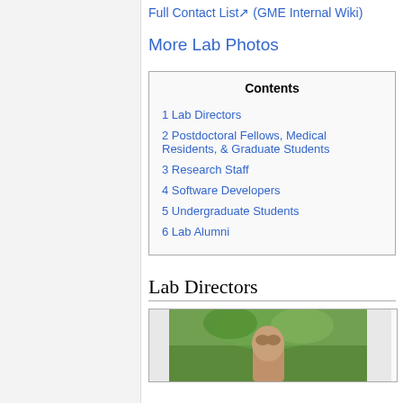Full Contact List (GME Internal Wiki)
More Lab Photos
| Contents |
| --- |
| 1 Lab Directors |
| 2 Postdoctoral Fellows, Medical Residents, & Graduate Students |
| 3 Research Staff |
| 4 Software Developers |
| 5 Undergraduate Students |
| 6 Lab Alumni |
Lab Directors
[Figure (photo): Photo of a lab director outdoors with green foliage in background]